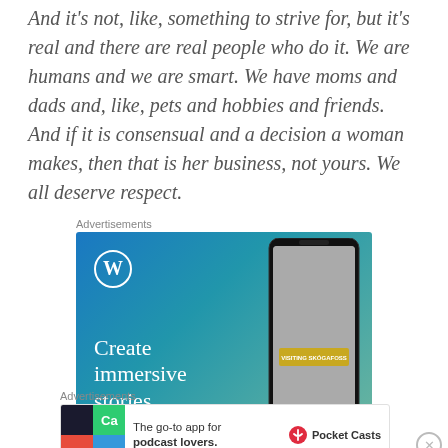And it's not, like, something to strive for, but it's real and there are real people who do it. We are humans and we are smart. We have moms and dads and, like, pets and hobbies and friends. And if it is consensual and a decision a woman makes, then that is her business, not yours. We all deserve respect.
Advertisements
[Figure (other): WordPress advertisement: blue-green gradient background with WordPress logo (W in circle), text 'Create immersive stories.' and a phone mockup showing 'VISITING SKÓGAFOSS']
Advertisements
[Figure (other): Pocket Casts advertisement: 'The go-to app for podcast lovers.' with Pocket Casts logo and colorful tile graphic on left]